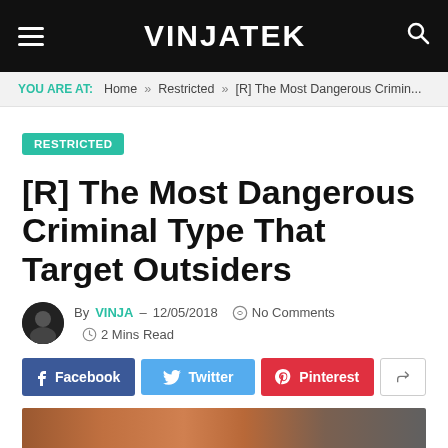VINJATEK
YOU ARE AT: Home » Restricted » [R] The Most Dangerous Crimin...
RESTRICTED
[R] The Most Dangerous Criminal Type That Target Outsiders
By VINJA – 12/05/2018  No Comments  2 Mins Read
Facebook  Twitter  Pinterest
[Figure (photo): Aerial/street-level photo of a densely packed urban neighborhood with brick buildings]